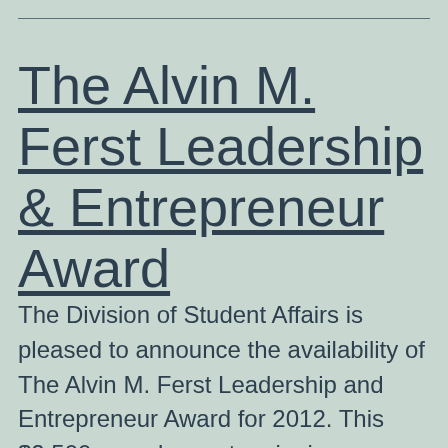The Alvin M. Ferst Leadership & Entrepreneur Award
The Division of Student Affairs is pleased to announce the availability of The Alvin M. Ferst Leadership and Entrepreneur Award for 2012. This $2,500 award goes to a junior or senior with at least a 2.5 GPA who has demonstrated